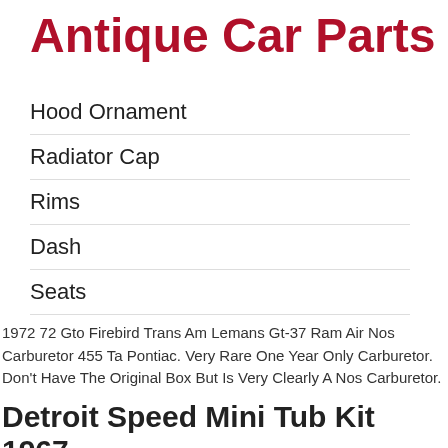Antique Car Parts
Hood Ornament
Radiator Cap
Rims
Dash
Seats
Lights
1972 72 Gto Firebird Trans Am Lemans Gt-37 Ram Air Nos Carburetor 455 Ta Pontiac. Very Rare One Year Only Carburetor. Don't Have The Original Box But Is Very Clearly A Nos Carburetor.
Detroit Speed Mini Tub Kit 1967